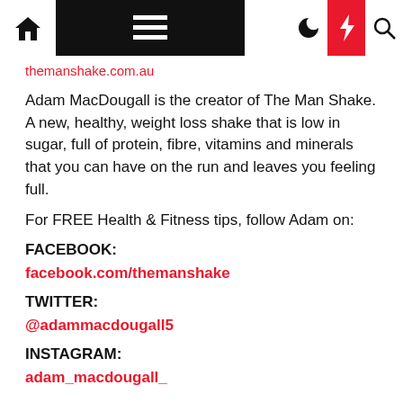themanshake.com.au
Adam MacDougall is the creator of The Man Shake. A new, healthy, weight loss shake that is low in sugar, full of protein, fibre, vitamins and minerals that you can have on the run and leaves you feeling full.
For FREE Health & Fitness tips, follow Adam on:
FACEBOOK:
facebook.com/themanshake
TWITTER:
@adammacdougall5
INSTAGRAM:
adam_macdougall_